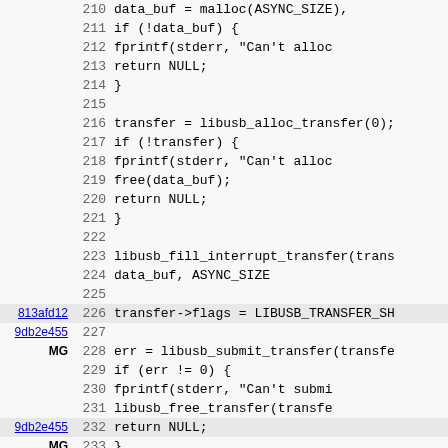[Figure (screenshot): Source code viewer showing C code lines 210-242 with git blame annotations (commit hashes and author initials) in the left margin. Lines 226, 232 are highlighted. Annotations include 813afd12, 9db2e455, MG.]